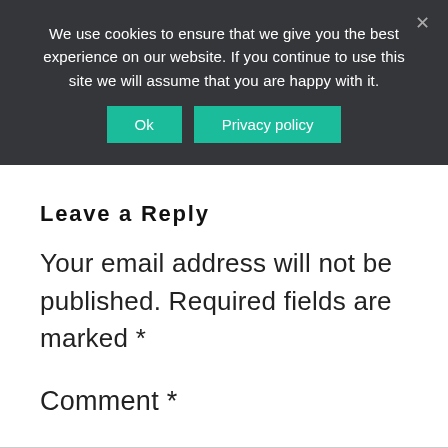We use cookies to ensure that we give you the best experience on our website. If you continue to use this site we will assume that you are happy with it.
Ok  Privacy policy
Leave a Reply
Your email address will not be published. Required fields are marked *
Comment *